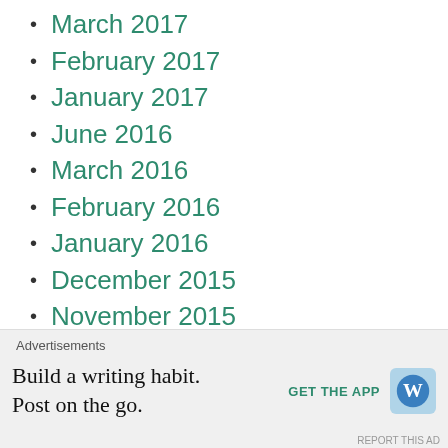March 2017
February 2017
January 2017
June 2016
March 2016
February 2016
January 2016
December 2015
November 2015
October 2015
September 2015
November 2014
October 2014
September 2014
Advertisements
Build a writing habit. Post on the go.
GET THE APP